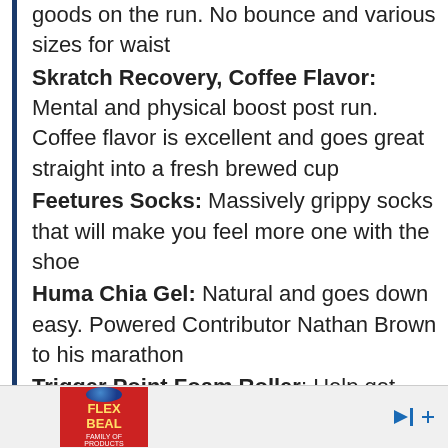goods on the run. No bounce and various sizes for waist
Skratch Recovery, Coffee Flavor: Mental and physical boost post run. Coffee flavor is excellent and goes great straight into a fresh brewed cup
Feetures Socks: Massively grippy socks that will make you feel more one with the shoe
Huma Chia Gel: Natural and goes down easy. Powered Contributor Nathan Brown to his marathon
Trigger Point Foam Roller: Help get those knots out post-run and feel better for tomorrow
Theragun Massager: This small version is great on the go for working tired legs
[Figure (other): Flex Beal Family of Products advertisement banner at the bottom of the page]